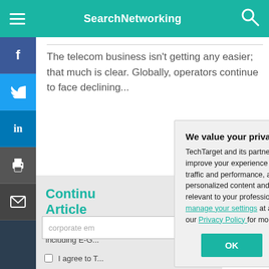SearchNetworking
The telecom business isn't getting any easier; that much is clear. Globally, operators continue to face declining...
Continue Reading This Article
Enjoy this art... including E-G...
We value your privacy. TechTarget and its partners employ cookies to improve your experience on our site, to analyze traffic and performance, and to serve personalized content and advertising that are relevant to your professional interests. You can manage your settings at any time. Please view our Privacy Policy for more information
OK  Settings